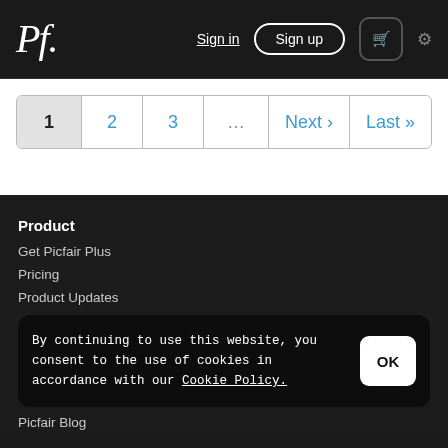Pf. Sign in Sign up [cart] [settings]
1  2  3  ...  Next ›  Last »
Product
Get Picfair Plus
Pricing
Product Updates
By continuing to use this website, you consent to the use of cookies in accordance with our Cookie Policy.
Picfair Blog